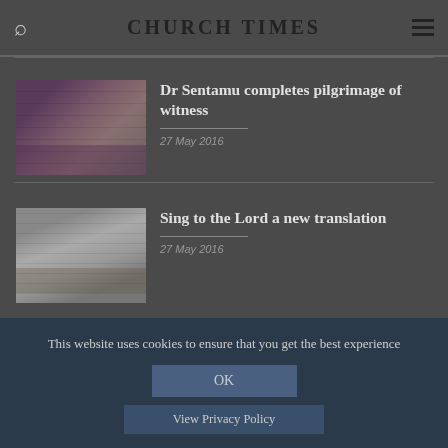CHURCH TIMES
[Figure (photo): Photo of a person in purple vestments raising hand outside a brick building]
Dr Sentamu completes pilgrimage of witness
27 May 2016
[Figure (photo): Black and white photo of a group of people in traditional dress]
Sing to the Lord a new translation
27 May 2016
This website uses cookies to ensure that you get the best experience
OK
View Privacy Policy